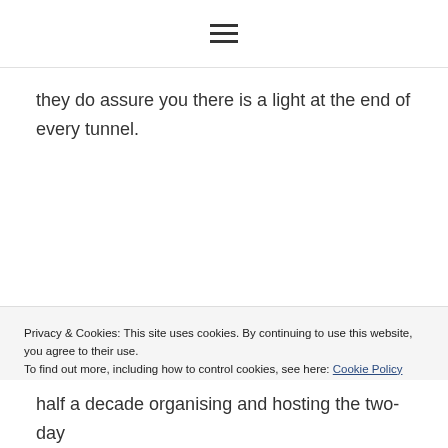☰
they do assure you there is a light at the end of every tunnel.
Privacy & Cookies: This site uses cookies. By continuing to use this website, you agree to their use.
To find out more, including how to control cookies, see here: Cookie Policy
Nice one. Got it.
half a decade organising and hosting the two-day